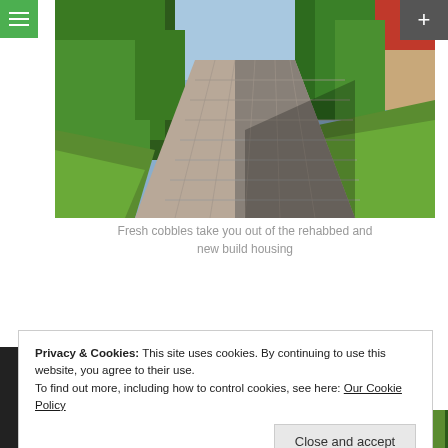[Figure (photo): A cobblestone path/lane bordered by green trees and grass, with a red-roofed house visible in the background on the right. The path leads away from the viewer into the distance.]
Fresh cobbles take you out of the rehabbed and new build housing
Privacy & Cookies: This site uses cookies. By continuing to use this website, you agree to their use.
To find out more, including how to control cookies, see here: Our Cookie Policy
Close and accept